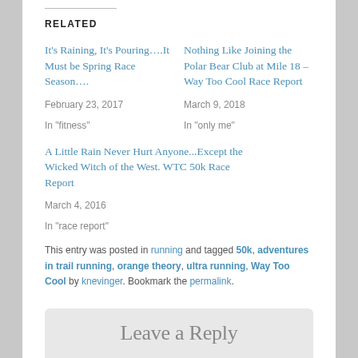RELATED
It's Raining, It's Pouring….It Must be Spring Race Season….
February 23, 2017
In "fitness"
Nothing Like Joining the Polar Bear Club at Mile 18 – Way Too Cool Race Report
March 9, 2018
In "only me"
A Little Rain Never Hurt Anyone...Except the Wicked Witch of the West. WTC 50k Race Report
March 4, 2016
In "race report"
This entry was posted in running and tagged 50k, adventures in trail running, orange theory, ultra running, Way Too Cool by knevinger. Bookmark the permalink.
Leave a Reply